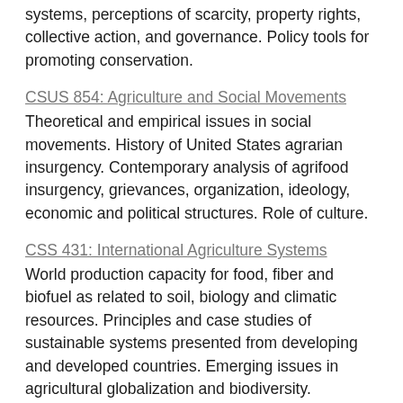systems, perceptions of scarcity, property rights, collective action, and governance. Policy tools for promoting conservation.
CSUS 854: Agriculture and Social Movements
Theoretical and empirical issues in social movements. History of United States agrarian insurgency. Contemporary analysis of agrifood insurgency, grievances, organization, ideology, economic and political structures. Role of culture.
CSS 431: International Agriculture Systems
World production capacity for food, fiber and biofuel as related to soil, biology and climatic resources. Principles and case studies of sustainable systems presented from developing and developed countries. Emerging issues in agricultural globalization and biodiversity.